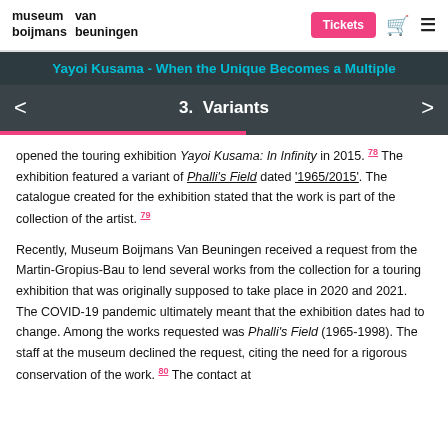museum boijmans   van beuningen   Tickets
Yayoi Kusama - When the Unique Becomes a Multiple
3.  Variants
opened the touring exhibition Yayoi Kusama: In Infinity in 2015.78 The exhibition featured a variant of Phalli's Field dated '1965/2015'. The catalogue created for the exhibition stated that the work is part of the collection of the artist.79
Recently, Museum Boijmans Van Beuningen received a request from the Martin-Gropius-Bau to lend several works from the collection for a touring exhibition that was originally supposed to take place in 2020 and 2021. The COVID-19 pandemic ultimately meant that the exhibition dates had to change. Among the works requested was Phalli's Field (1965-1998). The staff at the museum declined the request, citing the need for a rigorous conservation of the work.80 The contact at